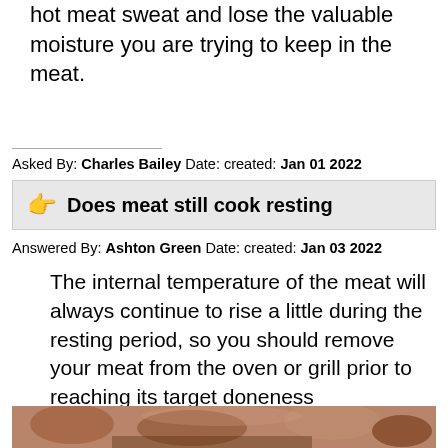hot meat sweat and lose the valuable moisture you are trying to keep in the meat.
Asked By: Charles Bailey Date: created: Jan 01 2022
Does meat still cook resting
Answered By: Ashton Green Date: created: Jan 03 2022
The internal temperature of the meat will always continue to rise a little during the resting period, so you should remove your meat from the oven or grill prior to reaching its target doneness temperature. Otherwise, it will be overcooked.
[Figure (photo): Close-up photo of cooked meat pieces]